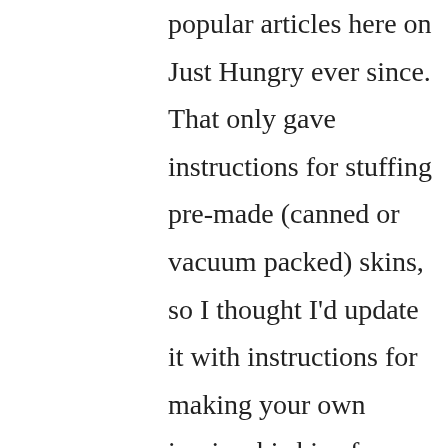popular articles here on Just Hungry ever since. That only gave instructions for stuffing pre-made (canned or vacuum packed) skins, so I thought I'd update it with instructions for making your own inarizushi skins from scratch. These instructions will be particularly useful to vegetarians and vegans, since most if not all premade skins are cooked in a fish-based traditional dashi stock. And for all of you who